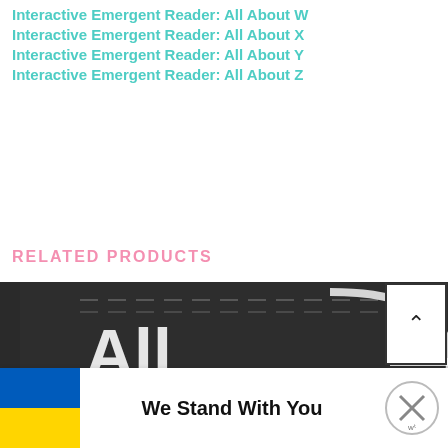Interactive Emergent Reader: All About W
Interactive Emergent Reader: All About X
Interactive Emergent Reader: All About Y
Interactive Emergent Reader: All About Z
RELATED PRODUCTS
[Figure (photo): Chalkboard with white chalk text reading 'All' and partial letter shapes, dark background educational theme]
We Stand With You